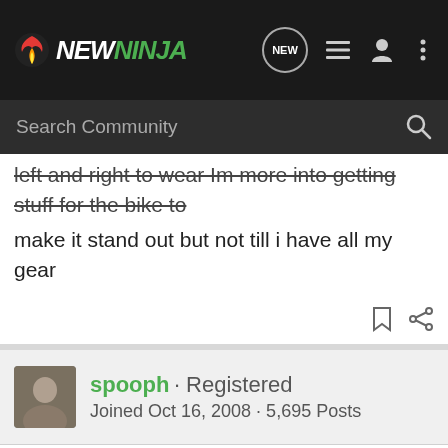NEWNINJA
left and right to wear Im more into getting stuff for the bike to make it stand out but not till i have all my gear
spooph · Registered
Joined Oct 16, 2008 · 5,695 Posts
#7 · Jun 28, 2011
nice bike! Thanks for posting up! I dig your area, it's beautiful!